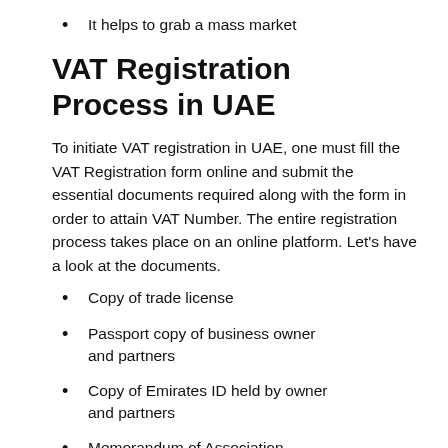It helps to grab a mass market
VAT Registration Process in UAE
To initiate VAT registration in UAE, one must fill the VAT Registration form online and submit the essential documents required along with the form in order to attain VAT Number. The entire registration process takes place on an online platform. Let's have a look at the documents.
Copy of trade license
Passport copy of business owner and partners
Copy of Emirates ID held by owner and partners
Memorandum of Association (MOA) of the company